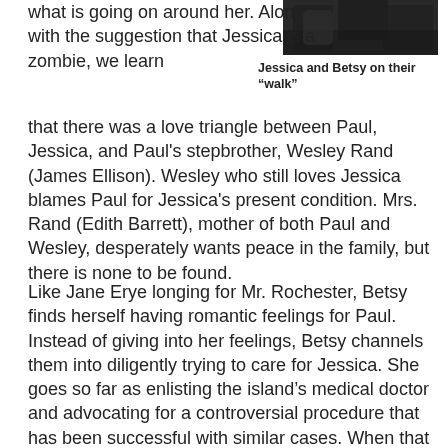what is going on around her. Along with the suggestion that Jessica is a zombie, we learn
[Figure (photo): Black and white photo of Jessica and Betsy on their walk]
Jessica and Betsy on their "walk"
that there was a love triangle between Paul, Jessica, and Paul's stepbrother, Wesley Rand (James Ellison). Wesley who still loves Jessica blames Paul for Jessica's present condition. Mrs. Rand (Edith Barrett), mother of both Paul and Wesley, desperately wants peace in the family, but there is none to be found.
Like Jane Erye longing for Mr. Rochester, Betsy finds herself having romantic feelings for Paul. Instead of giving into her feelings, Betsy channels them into diligently trying to care for Jessica. She goes so far as enlisting the island's medical doctor and advocating for a controversial procedure that has been successful with similar cases. When that procedure doesn't work, Betsy tries something much more risky.